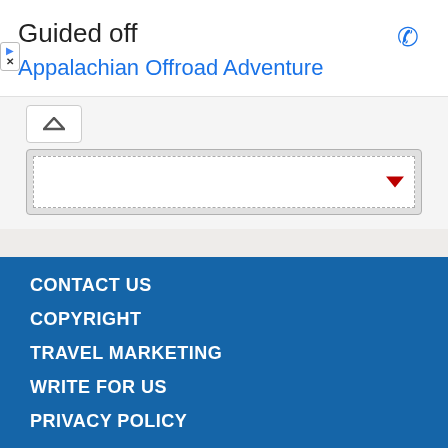Guided off
Appalachian Offroad Adventure
[Figure (screenshot): Mobile app UI screenshot showing a dropdown selector widget with a collapse/expand button and a red dropdown arrow]
CONTACT US
COPYRIGHT
TRAVEL MARKETING
WRITE FOR US
PRIVACY POLICY
TERMS OF USE
HELP